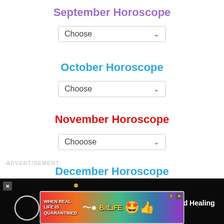September Horoscope
[Figure (screenshot): Dropdown selector labeled 'Choose' with chevron arrow]
October Horoscope
[Figure (screenshot): Dropdown selector labeled 'Choose' with chevron arrow]
November Horoscope
[Figure (screenshot): Dropdown selector labeled 'Chooose' with chevron arrow]
-ADVERTISEMENT-
December Horoscope
[Figure (screenshot): Video overlay on black background showing 'How To Open 7 Chakras - Meditation and Healing - SunSigns.Org' with circular play icon and X close button]
[Figure (screenshot): Advertisement banner: WHEN REAL LIFE IS QUARANTINED - BitLife game ad with colorful gradient background and emoji mascot]